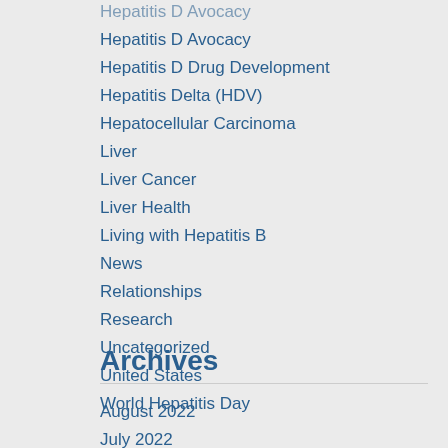Hepatitis D Avocacy
Hepatitis D Drug Development
Hepatitis Delta (HDV)
Hepatocellular Carcinoma
Liver
Liver Cancer
Liver Health
Living with Hepatitis B
News
Relationships
Research
Uncategorized
United States
World Hepatitis Day
Archives
August 2022
July 2022